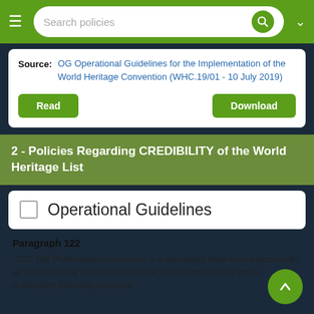Search policies
Source: OG Operational Guidelines for the Implementation of the World Heritage Convention (WHC.19/01 - 10 July 2019)
Read | Download
2 - Policies Regarding CREDIBILITY of the World Heritage List
Operational Guidelines
Paragraph 122
"122. The Preliminary Assessment is a mandatory desk-based process for all sites that may be nominated to the World Heritage List and is undertaken following a request